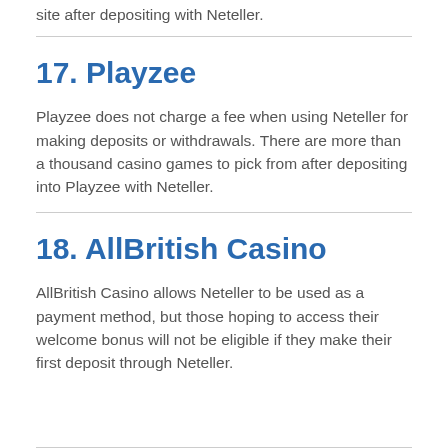site after depositing with Neteller.
17. Playzee
Playzee does not charge a fee when using Neteller for making deposits or withdrawals. There are more than a thousand casino games to pick from after depositing into Playzee with Neteller.
18. AllBritish Casino
AllBritish Casino allows Neteller to be used as a payment method, but those hoping to access their welcome bonus will not be eligible if they make their first deposit through Neteller.